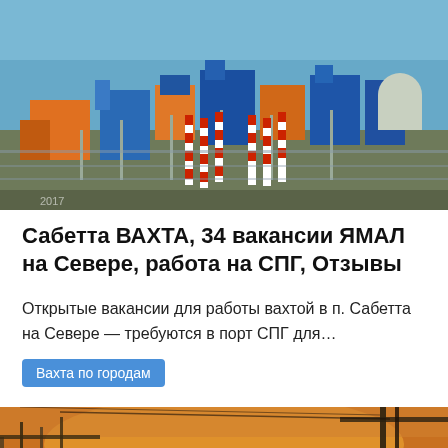[Figure (photo): Aerial view of Sabetta LNG industrial facility with blue and orange structures, pipelines, and chimneys with red-and-white stripes, sea visible in background]
Сабетта ВАХТА, 34 вакансии ЯМАЛ на Севере, работа на СПГ, Отзывы
Открытые вакансии для работы вахтой в п. Сабетта на Севере — требуются в порт СПГ для…
Вахта по городам
[Figure (photo): Industrial facility close-up with orange and yellow lighting, metal structure and crane visible]